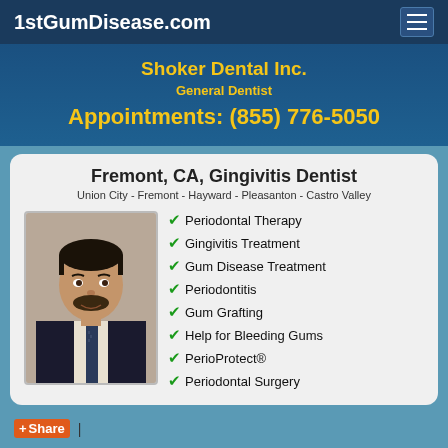1stGumDisease.com
Shoker Dental Inc.
General Dentist
Appointments: (855) 776-5050
Fremont, CA, Gingivitis Dentist
Union City - Fremont - Hayward - Pleasanton - Castro Valley
[Figure (photo): Headshot photo of a male dentist in a dark suit with a striped tie, smiling]
Periodontal Therapy
Gingivitis Treatment
Gum Disease Treatment
Periodontitis
Gum Grafting
Help for Bleeding Gums
PerioProtect®
Periodontal Surgery
Share